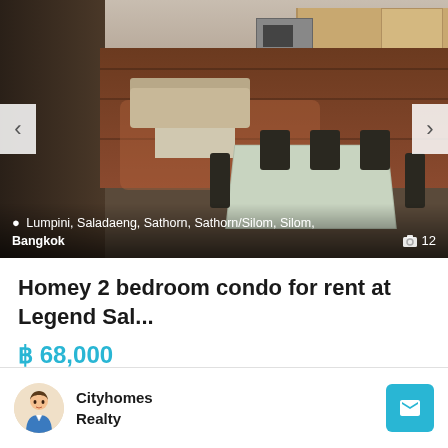[Figure (photo): Interior photo of a modern apartment living/dining area with dark wood floors, dining table with chairs, sofa, and open kitchen with wooden cabinets in background. Location overlay at bottom.]
Lumpini, Saladaeng, Sathorn, Sathorn/Silom, Silom, Bangkok  📷 12
Homey 2 bedroom condo for rent at Legend Sal...
฿ 68,000
🛏 2  🛁 2  ⤢ 113 m²
Cityhomes Realty